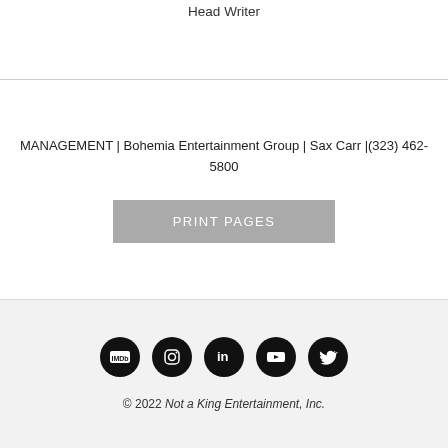Head Writer
MANAGEMENT | Bohemia Entertainment Group | Sax Carr |(323) 462-5800
PRINT PAGES
[Figure (other): Social media icons: IMDb, Instagram, LinkedIn, YouTube, Twitter]
© 2022 Not a King Entertainment, Inc.